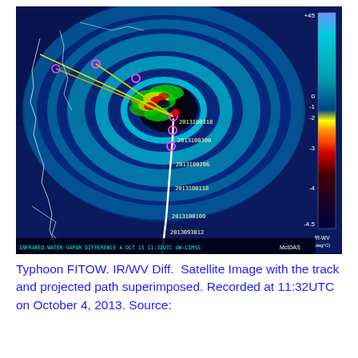[Figure (photo): Typhoon FITOW infrared-water vapor difference satellite image recorded at 11:32 UTC on 4 October 2013. Shows the typhoon eye with colored radar-like overlay (greens, yellows, reds indicating intensity), storm track (white line) and projected path (yellow/orange lines) superimposed, with pink/red waypoint markers and timestamps (2013093012, 2013100100, 2013100118, 2013100206, 2013100300, 2013100318). A color scale bar on the right side shows IR-WV (deg C) ranging from +45 at top to -4.5 at bottom with color gradient from blue through teal, yellow, green, red. Bottom banner reads: INFRARED-WATER VAPOR DIFFERENCE 4 OCT 13 11:32UTC UW-CIMSS McIDAS. Source: UW-CIMSS.]
Typhoon FITOW. IR/WV Diff.  Satellite Image with the track and projected path superimposed. Recorded at 11:32UTC on October 4, 2013. Source: